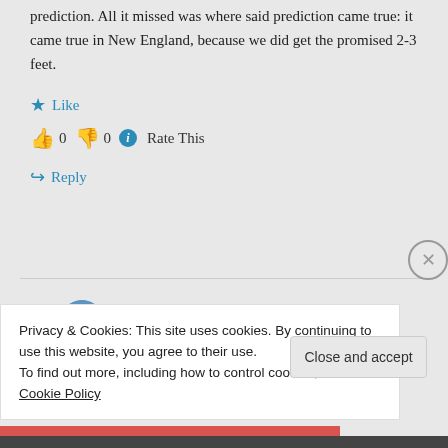prediction. All it missed was where said prediction came true: it came true in New England, because we did get the promised 2-3 feet.
★ Like
👍 0 👎 0 ℹ Rate This
↪ Reply
aFrankAngle on January 28, 2015 at
Privacy & Cookies: This site uses cookies. By continuing to use this website, you agree to their use.
To find out more, including how to control cookies, see here: Cookie Policy
Close and accept